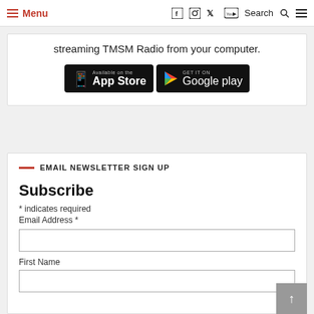Menu | Social icons | Search
streaming TMSM Radio from your computer.
[Figure (other): App Store and Google Play download badges]
EMAIL NEWSLETTER SIGN UP
Subscribe
* indicates required
Email Address *
First Name